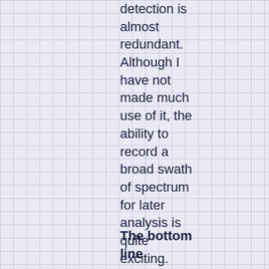detection is almost redundant. Although I have not made much use of it, the ability to record a broad swath of spectrum for later analysis is quite exciting.
The bottom line